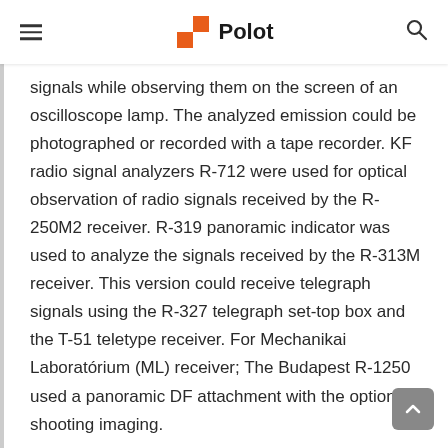Polot
signals while observing them on the screen of an oscilloscope lamp. The analyzed emission could be photographed or recorded with a tape recorder. KF radio signal analyzers R-712 were used for optical observation of radio signals received by the R-250M2 receiver. R-319 panoramic indicator was used to analyze the signals received by the R-313M receiver. This version could receive telegraph signals using the R-327 telegraph set-top box and the T-51 teletype receiver. For Mechanikai Laboratórium (ML) receiver; The Budapest R-1250 used a panoramic DF attachment with the option of shooting imaging.